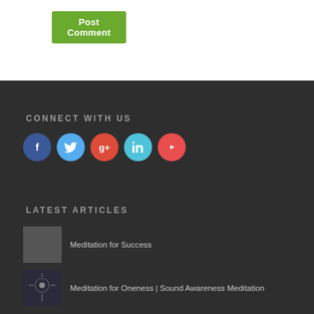Post Comment
CONNECT WITH US
[Figure (infographic): Social media icons row: Facebook (blue circle), Twitter (light blue circle), Google+ (red circle), LinkedIn (teal circle), YouTube (red circle)]
LATEST ARTICLES
Meditation for Success
Meditation for Oneness | Sound Awareness Meditation